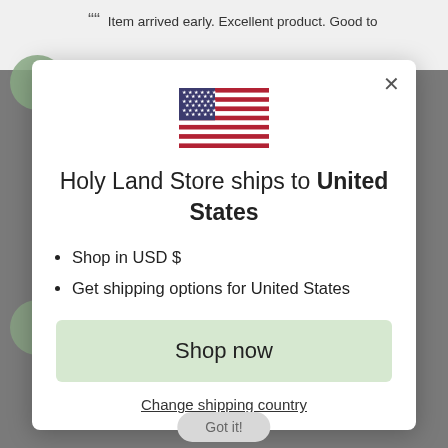" Item arrived early. Excellent product. Good to
[Figure (illustration): US flag SVG illustration centered in modal]
Holy Land Store ships to United States
Shop in USD $
Get shipping options for United States
Shop now
Change shipping country